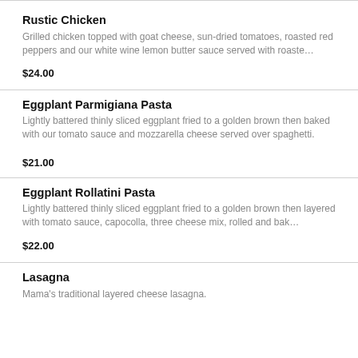Rustic Chicken
Grilled chicken topped with goat cheese, sun-dried tomatoes, roasted red peppers and our white wine lemon butter sauce served with roaste…
$24.00
Eggplant Parmigiana Pasta
Lightly battered thinly sliced eggplant fried to a golden brown then baked with our tomato sauce and mozzarella cheese served over spaghetti.
$21.00
Eggplant Rollatini Pasta
Lightly battered thinly sliced eggplant fried to a golden brown then layered with tomato sauce, capocolla, three cheese mix, rolled and bak…
$22.00
Lasagna
Mama's traditional layered cheese lasagna.